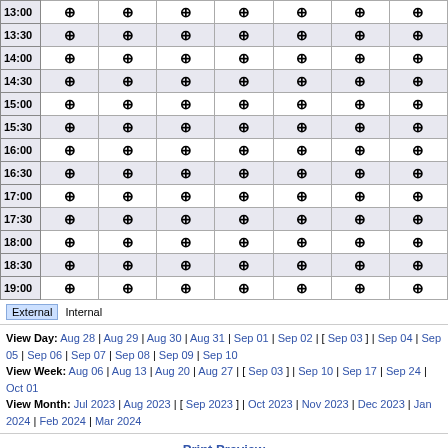| Time | Col1 | Col2 | Col3 | Col4 | Col5 | Col6 | Col7 |
| --- | --- | --- | --- | --- | --- | --- | --- |
| 13:00 | ⊕ | ⊕ | ⊕ | ⊕ | ⊕ | ⊕ | ⊕ |
| 13:30 | ⊕ | ⊕ | ⊕ | ⊕ | ⊕ | ⊕ | ⊕ |
| 14:00 | ⊕ | ⊕ | ⊕ | ⊕ | ⊕ | ⊕ | ⊕ |
| 14:30 | ⊕ | ⊕ | ⊕ | ⊕ | ⊕ | ⊕ | ⊕ |
| 15:00 | ⊕ | ⊕ | ⊕ | ⊕ | ⊕ | ⊕ | ⊕ |
| 15:30 | ⊕ | ⊕ | ⊕ | ⊕ | ⊕ | ⊕ | ⊕ |
| 16:00 | ⊕ | ⊕ | ⊕ | ⊕ | ⊕ | ⊕ | ⊕ |
| 16:30 | ⊕ | ⊕ | ⊕ | ⊕ | ⊕ | ⊕ | ⊕ |
| 17:00 | ⊕ | ⊕ | ⊕ | ⊕ | ⊕ | ⊕ | ⊕ |
| 17:30 | ⊕ | ⊕ | ⊕ | ⊕ | ⊕ | ⊕ | ⊕ |
| 18:00 | ⊕ | ⊕ | ⊕ | ⊕ | ⊕ | ⊕ | ⊕ |
| 18:30 | ⊕ | ⊕ | ⊕ | ⊕ | ⊕ | ⊕ | ⊕ |
| 19:00 | ⊕ | ⊕ | ⊕ | ⊕ | ⊕ | ⊕ | ⊕ |
External Internal
View Day: Aug 28 | Aug 29 | Aug 30 | Aug 31 | Sep 01 | Sep 02 | [ Sep 03 ] | Sep 04 | Sep 05 | Sep 06 | Sep 07 | Sep 08 | Sep 09 | Sep 10 View Week: Aug 06 | Aug 13 | Aug 20 | Aug 27 | [ Sep 03 ] | Sep 10 | Sep 17 | Sep 24 | Oct 01 View Month: Jul 2023 | Aug 2023 | [ Sep 2023 ] | Oct 2023 | Nov 2023 | Dec 2023 | Jan 2024 | Feb 2024 | Mar 2024
Print Preview